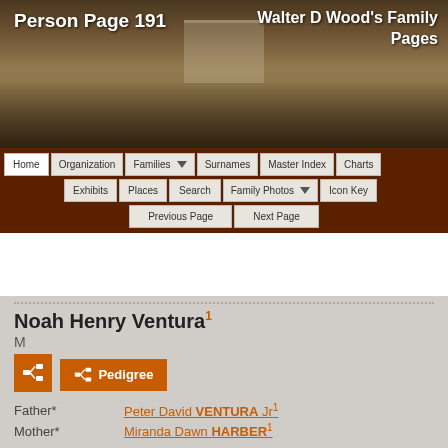[Figure (photo): Sepia-toned group photo of a large family gathering outdoors, with many people standing in front of a building]
Person Page 191    Walter D Wood's Family Pages
Home | Organization | Families ▼ | Surnames | Master Index | Charts
Exhibits | Places | Search | Family Photos ▼ | Icon Key
Previous Page | Next Page
Noah Henry Ventura¹
M
Pedigree
|  |  |
| --- | --- |
| Father* | Peter David VENTURA Jr¹ |
| Mother* | Miranda Dawn HARBER¹ |